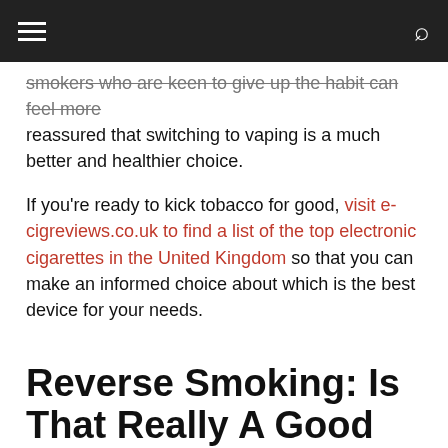smokers who are keen to give up the habit can feel more reassured that switching to vaping is a much better and healthier choice.
If you're ready to kick tobacco for good, visit e-cigreviews.co.uk to find a list of the top electronic cigarettes in the United Kingdom so that you can make an informed choice about which is the best device for your needs.
Reverse Smoking: Is That Really A Good Thing?
November 12, 2017